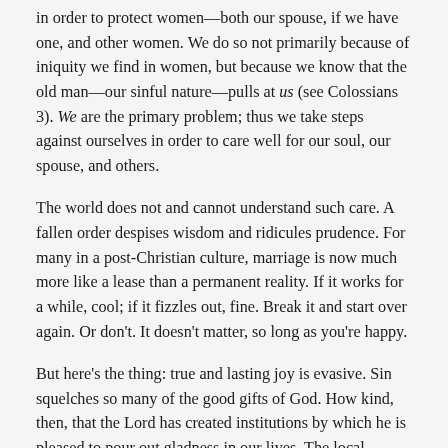in order to protect women—both our spouse, if we have one, and other women. We do so not primarily because of iniquity we find in women, but because we know that the old man—our sinful nature—pulls at us (see Colossians 3). We are the primary problem; thus we take steps against ourselves in order to care well for our soul, our spouse, and others.
The world does not and cannot understand such care. A fallen order despises wisdom and ridicules prudence. For many in a post-Christian culture, marriage is now much more like a lease than a permanent reality. If it works for a while, cool; if it fizzles out, fine. Break it and start over again. Or don't. It doesn't matter, so long as you're happy.
But here's the thing: true and lasting joy is evasive. Sin squelches so many of the good gifts of God. How kind, then, that the Lord has created institutions by which he is pleased to pour out gladness in our lives. The local church, marriage, the children he gives us, a vocation, the chance to minister the gospel in some way—these are precious gifts of God. His blessings often flow to us through institutions. Contra the